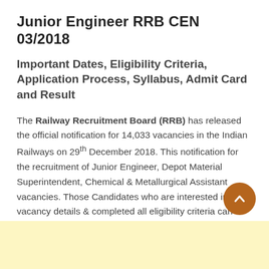Junior Engineer RRB CEN 03/2018
Important Dates, Eligibility Criteria, Application Process, Syllabus, Admit Card and Result
The Railway Recruitment Board (RRB) has released the official notification for 14,033 vacancies in the Indian Railways on 29th December 2018. This notification for the recruitment of Junior Engineer, Depot Material Superintendent, Chemical & Metallurgical Assistant vacancies. Those Candidates who are interested in the vacancy details & completed all eligibility criteria can read the Notification & Apply.